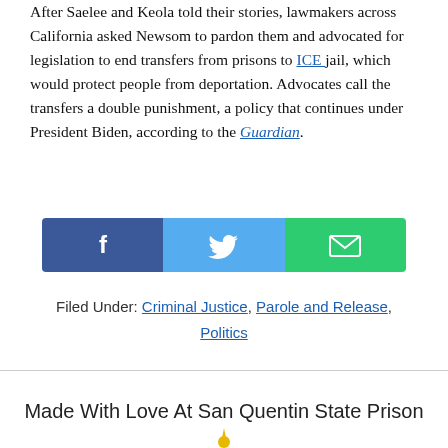After Saelee and Keola told their stories, lawmakers across California asked Newsom to pardon them and advocated for legislation to end transfers from prisons to ICE jail, which would protect people from deportation. Advocates call the transfers a double punishment, a policy that continues under President Biden, according to the Guardian.
[Figure (infographic): Social share buttons: Facebook (dark blue), Twitter (light blue), Email (green), each with white icon]
Filed Under: Criminal Justice, Parole and Release, Politics
Made With Love At San Quentin State Prison